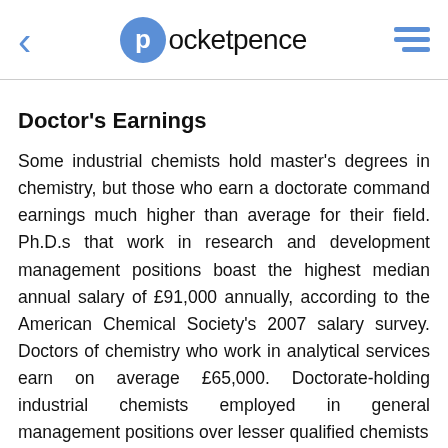pocketpence
Doctor's Earnings
Some industrial chemists hold master's degrees in chemistry, but those who earn a doctorate command earnings much higher than average for their field. Ph.D.s that work in research and development management positions boast the highest median annual salary of £91,000 annually, according to the American Chemical Society's 2007 salary survey. Doctors of chemistry who work in analytical services earn on average £65,000. Doctorate-holding industrial chemists employed in general management positions over lesser qualified chemists